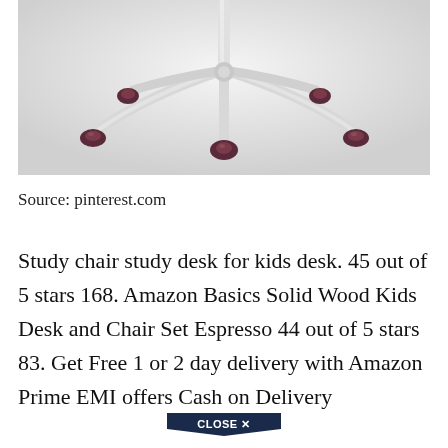[Figure (photo): Close-up photo of the base of a white office/study chair with five caster wheels on a light gray background. The base has curved white metal arms and dark/maroon caster wheels.]
Source: pinterest.com
Study chair study desk for kids desk. 45 out of 5 stars 168. Amazon Basics Solid Wood Kids Desk and Chair Set Espresso 44 out of 5 stars 83. Get Free 1 or 2 day delivery with Amazon Prime EMI offers Cash on Delivery